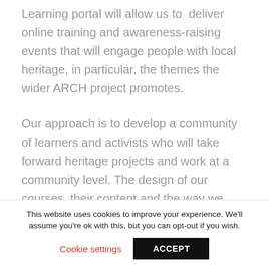Learning portal will allow us to deliver online training and awareness-raising events that will engage people with local heritage, in particular, the themes the wider ARCH project promotes.
Our approach is to develop a community of learners and activists who will take forward heritage projects and work at a community level. The design of our courses, their content and the way we deliver them is best described as a 'communiversity'. By that we mean all the
This website uses cookies to improve your experience. We'll assume you're ok with this, but you can opt-out if you wish.